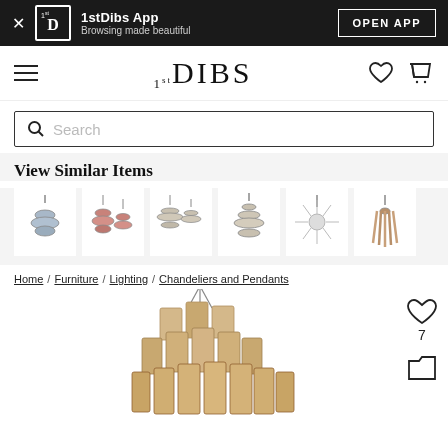1stDibs App — Browsing made beautiful | OPEN APP
[Figure (logo): 1stDibs navigation bar with hamburger menu, 1stDIBS logo, heart and cart icons]
Search
View Similar Items
[Figure (photo): Row of similar chandelier/pendant product thumbnail images]
Home / Furniture / Lighting / Chandeliers and Pendants
[Figure (photo): Large amber/gold Murano glass tiered chandelier product photo with a heart/favorite icon showing 7 likes and a folder/collections icon]